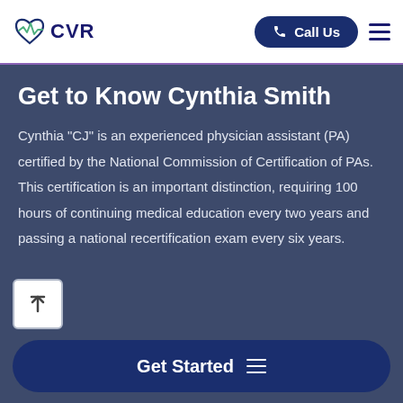CVR | Call Us
Get to Know Cynthia Smith
Cynthia "CJ" is an experienced physician assistant (PA) certified by the National Commission of Certification of PAs. This certification is an important distinction, requiring 100 hours of continuing medical education every two years and passing a national recertification exam every six years.
Get Started